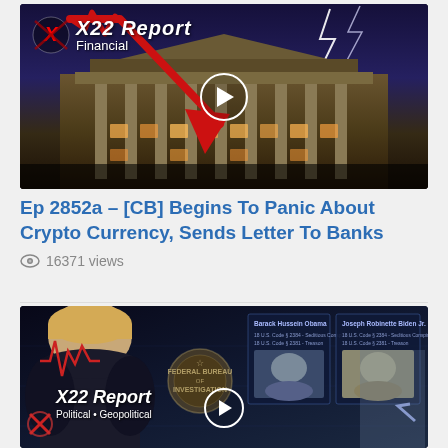[Figure (screenshot): X22 Report Financial thumbnail showing Federal Reserve building at night with lightning storm, red downward arrow, and X22 Report logo with 'Financial' label. Play button in center.]
Ep 2852a – [CB] Begins To Panic About Crypto Currency, Sends Letter To Banks
👁 16371 views
[Figure (screenshot): X22 Report Political Geopolitical thumbnail showing Trump silhouette on left, FBI seal, face cards for Barack Hussein Obama and Joseph Robinette Biden Jr. with charges listed (18 U.S. Code § 2384 Seditious Conspiracy, 18 U.S. Code § 2381 Treason), portrait photos of men on right. Play button in center.]